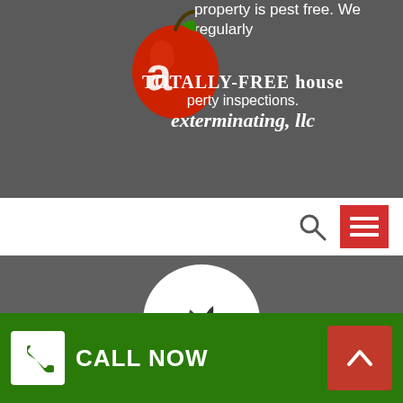[Figure (logo): Apple Exterminating LLC logo with red apple and green leaf, overlaid with text 'TOTALLY-FREE house property inspections.' and 'apple exterminating, llc']
property is pest free. We regularly
TOTALLY-FREE house property inspections.
apple exterminating, llc
[Figure (screenshot): Navigation bar with search icon and red hamburger menu button]
[Figure (illustration): White circle with dark leaf/plant sprout icon representing eco-friendly]
ECO FRIENDLY TECHNOLOGIES
Here at Apple Exterminating, we offer environmentally-safe methods to
[Figure (infographic): Green bottom bar with CALL NOW button (white phone box) and red back-to-top arrow button]